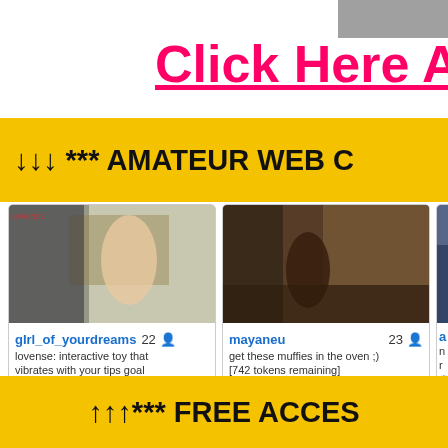[Figure (screenshot): Small thumbnail image in top right corner]
Click Here A
↓↓↓ *** AMATEUR WEB C
[Figure (screenshot): Webcam thumbnail of girl_of_yourdreams in kitchen]
girl_of_yourdreams 22
lovense: interactive toy that vibrates with your tips goal
1.4 hrs, 5960 viewers
[Figure (screenshot): Webcam thumbnail of mayaneu in kitchen]
mayaneu 23
get these muffies in the oven ;) [742 tokens remaining]
2.5 hrs, 4555 viewers
[Figure (screenshot): Partial webcam thumbnail cropped on right edge]
↑↑↑*** FREE ACCES